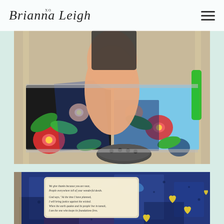Brianna Leigh xo
[Figure (photo): Overhead view of a child sitting in a colorful hibiscus-patterned beach chair with Croc shoes, sandy background]
[Figure (photo): Close-up of a blue painted artwork with yellow heart shapes and a Bible verse card reading psalm text about giving thanks and justice against the wicked]